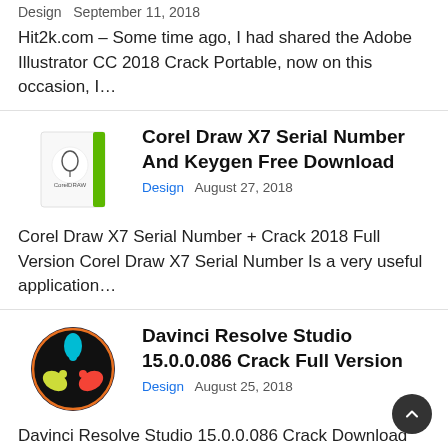Design   September 11, 2018
Hit2k.com – Some time ago, I had shared the Adobe Illustrator CC 2018 Crack Portable, now on this occasion, I…
Corel Draw X7 Serial Number And Keygen Free Download
Design   August 27, 2018
Corel Draw X7 Serial Number + Crack 2018 Full Version Corel Draw X7 Serial Number Is a very useful application…
Davinci Resolve Studio 15.0.0.086 Crack Full Version
Design   August 25, 2018
Davinci Resolve Studio 15.0.0.086 Crack Download Davinci Resolve Studio 15 Crack Full Version is an editing software from Blackmagic Design,…